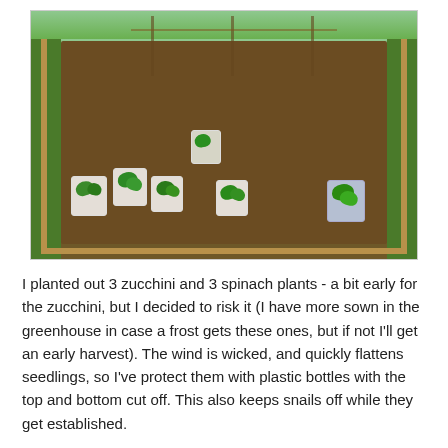[Figure (photo): A raised garden bed made of wooden planks, seen from above at an angle. The rectangular bed is filled with dark soil. Several seedlings are planted in it, each protected by cut-off plastic bottles (milk jugs and similar containers) as cloches. Green grass surrounds the bed on both sides. In the background there are more raised beds with trellises and taller plants.]
I planted out 3 zucchini and 3 spinach plants - a bit early for the zucchini, but I decided to risk it (I have more sown in the greenhouse in case a frost gets these ones, but if not I'll get an early harvest). The wind is wicked, and quickly flattens seedlings, so I've protect them with plastic bottles with the top and bottom cut off. This also keeps snails off while they get established.